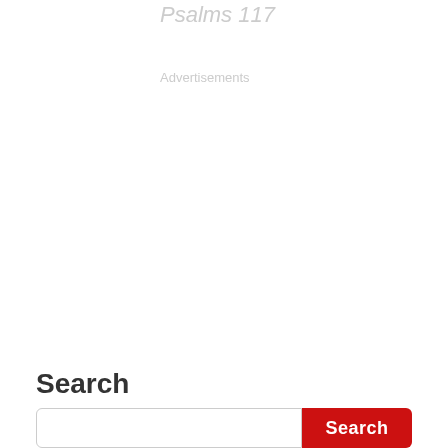Psalms 117
Advertisements
Search
Search